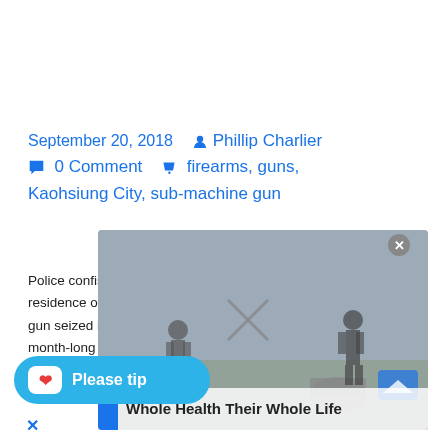September 20, 2018  Phillip Charlier  0 Comment  firearms, guns, Kaohsiung City, sub-machine gun
Police confiscated a sub-machine gun after a raid at the residence of a suspect last night. It was the second sub-machine gun seized in the city in consecutive days. The raid followed a month-long investigation launched after an arrest of a man in August on drugs and guns charges. Police
[Figure (screenshot): Partially visible video/ad overlay showing people walking, with an X close button and health advertisement text 'Whole Health Their Whole Life']
Please tip
✕